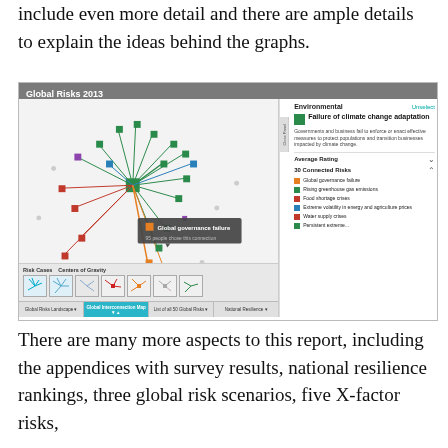include even more detail and there are ample details to explain the ideas behind the graphs.
[Figure (screenshot): Screenshot of the Global Risks 2013 interactive web tool showing a network/interconnection map with colored squares representing different risk categories, a sidebar panel showing 'Failure of climate change adaptation' as selected risk under Environmental category with 30 connected risks listed, and a bottom navigation bar with tabs including Global Risks Landscape, Global Interconnection Map, List of all 50 Global Risks, and National Resilience.]
There are many more aspects to this report, including the appendices with survey results, national resilience rankings, three global risk scenarios, five X-factor risks,